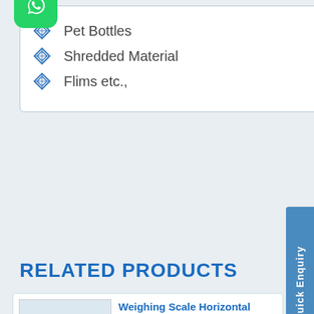Pet Bottles
Shredded Material
Flims etc.,
RELATED PRODUCTS
[Figure (other): Quick Enquiry vertical sidebar button in blue]
[Figure (photo): Weighing Scale Horizontal Baler machine image with FABTEX branding]
Weighing Scale Horizontal Baler
The 'FABTEX' make Weighing Scale Horizontal Baler is designed